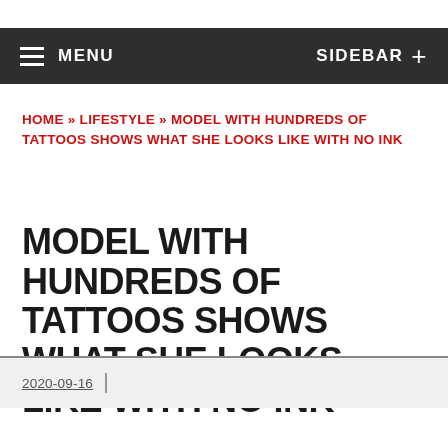MENU | SIDEBAR +
HOME » LIFESTYLE » MODEL WITH HUNDREDS OF TATTOOS SHOWS WHAT SHE LOOKS LIKE WITH NO INK
MODEL WITH HUNDREDS OF TATTOOS SHOWS WHAT SHE LOOKS LIKE WITH NO INK
2020-09-16